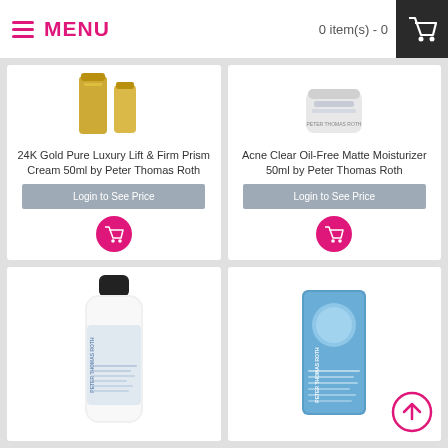MENU | 0 item(s) - 0
24K Gold Pure Luxury Lift & Firm Prism Cream 50ml by Peter Thomas Roth
Login to See Price
Acne Clear Oil-Free Matte Moisturizer 50ml by Peter Thomas Roth
Login to See Price
[Figure (photo): Peter Thomas Roth product bottle (lotion), white bottle with black cap, lower left card]
[Figure (photo): Peter Thomas Roth Acne Clear product in blue tin/box packaging, lower right card]